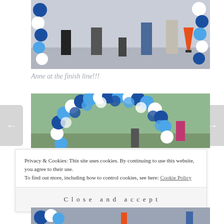[Figure (photo): People standing near blue and white balloon arch decorations at a finish line area, with an orange traffic cone visible on the right side.]
Anne at the finish line!!!
[Figure (photo): A large arch made of blue and white balloons with children playing underneath at what appears to be a finish line event.]
Privacy & Cookies: This site uses cookies. By continuing to use this website, you agree to their use.
To find out more, including how to control cookies, see here: Cookie Policy
Close and accept
[Figure (photo): Partial view of another photo below the cookie banner showing people at the event.]